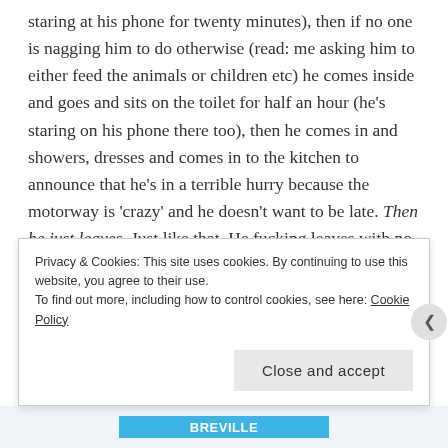staring at his phone for twenty minutes), then if no one is nagging him to do otherwise (read: me asking him to either feed the animals or children etc) he comes inside and goes and sits on the toilet for half an hour (he's staring on his phone there too), then he comes in and showers, dresses and comes in to the kitchen to announce that he's in a terrible hurry because the motorway is 'crazy' and he doesn't want to be late. Then he just leaves. Just like that. He fucking leaves with no fighting and no one screaming about their shoes or anything – it's a fucking miracle.
Privacy & Cookies: This site uses cookies. By continuing to use this website, you agree to their use. To find out more, including how to control cookies, see here: Cookie Policy
Close and accept